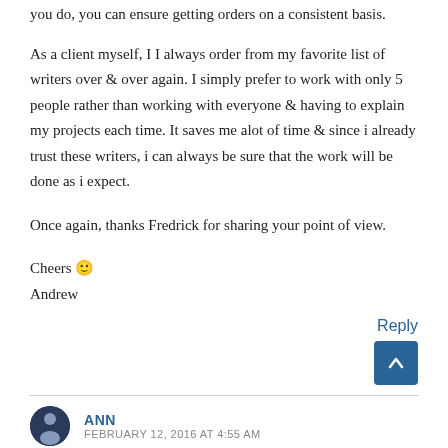you do, you can ensure getting orders on a consistent basis.
As a client myself, I I always order from my favorite list of writers over & over again. I simply prefer to work with only 5 people rather than working with everyone & having to explain my projects each time. It saves me alot of time & since i already trust these writers, i can always be sure that the work will be done as i expect.
Once again, thanks Fredrick for sharing your point of view.
Cheers 🙂
Andrew
Reply
ANN
FEBRUARY 12, 2016 AT 4:55 AM